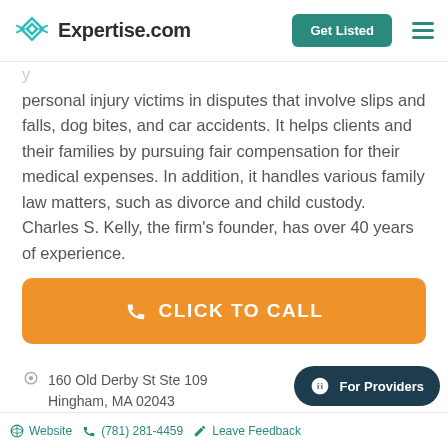Expertise.com | Get Listed
personal injury victims in disputes that involve slips and falls, dog bites, and car accidents. It helps clients and their families by pursuing fair compensation for their medical expenses. In addition, it handles various family law matters, such as divorce and child custody. Charles S. Kelly, the firm's founder, has over 40 years of experience.
[Figure (other): Orange button reading CLICK TO CALL with phone icon]
160 Old Derby St Ste 109
Hingham, MA 02043
Website  (781) 281-4459  Leave Feedback